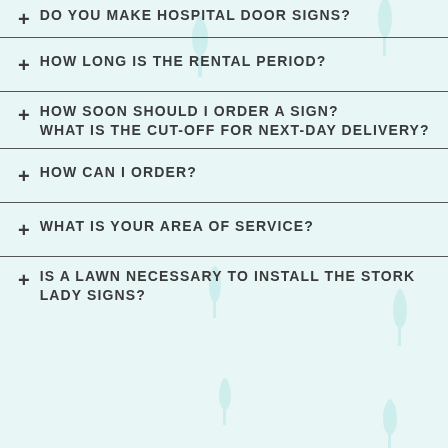+ DO YOU MAKE HOSPITAL DOOR SIGNS?
+ HOW LONG IS THE RENTAL PERIOD?
+ HOW SOON SHOULD I ORDER A SIGN? WHAT IS THE CUT-OFF FOR NEXT-DAY DELIVERY?
+ HOW CAN I ORDER?
+ WHAT IS YOUR AREA OF SERVICE?
+ IS A LAWN NECESSARY TO INSTALL THE STORK LADY SIGNS?